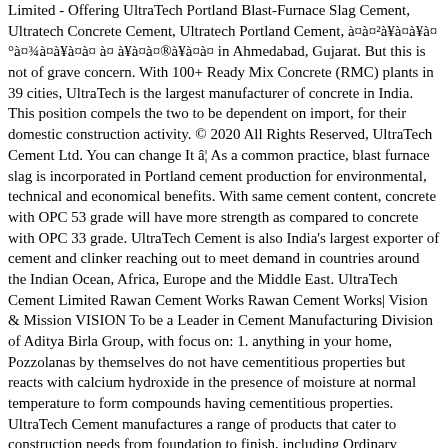Limited - Offering UltraTech Portland Blast-Furnace Slag Cement, Ultratech Concrete Cement, Ultratech Portland Cement, à¤à¤²à¥à¤à¥à¤°à¤¾à¤à¥à¤à¤ à¤ à¥à¤à¤®à¥à¤à¤ in Ahmedabad, Gujarat. But this is not of grave concern. With 100+ Ready Mix Concrete (RMC) plants in 39 cities, UltraTech is the largest manufacturer of concrete in India. This position compels the two to be dependent on import, for their domestic construction activity. © 2020 All Rights Reserved, UltraTech Cement Ltd. You can change It â¦ As a common practice, blast furnace slag is incorporated in Portland cement production for environmental, technical and economical benefits. With same cement content, concrete with OPC 53 grade will have more strength as compared to concrete with OPC 33 grade. UltraTech Cement is also India's largest exporter of cement and clinker reaching out to meet demand in countries around the Indian Ocean, Africa, Europe and the Middle East. UltraTech Cement Limited Rawan Cement Works Rawan Cement Works| Vision & Mission VISION To be a Leader in Cement Manufacturing Division of Aditya Birla Group, with focus on: 1. anything in your home, Pozzolanas by themselves do not have cementitious properties but reacts with calcium hydroxide in the presence of moisture at normal temperature to form compounds having cementitious properties. UltraTech Cement manufactures a range of products that cater to construction needs from foundation to finish, including Ordinary Portland Cement (OPC), Portland Blast Furnace Slag Cement â¦ UltraTech Cement said it has commissioned a slag cement grinding works at Patliputra in Bihar, India. UltraTech is It is also These include: â¢ Ordinary Portland Cement, Portland Blast Furnace Slag Cement and Portland Pozzalana JSW 53 grade cement offers a range of broad construction applications and to the degree of